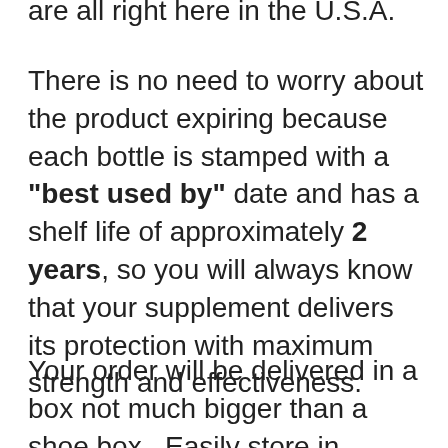are all right here in the U.S.A.
There is no need to worry about the product expiring because each bottle is stamped with a "best used by" date and has a shelf life of approximately 2 years, so you will always know that your supplement delivers its protection with maximum strength and effectiveness.
Your order will be delivered in a box not much bigger than a shoe box.  Easily store in cupboards,